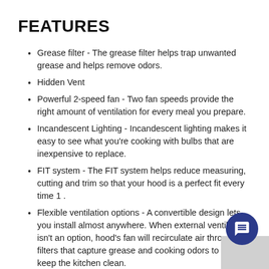FEATURES
Grease filter - The grease filter helps trap unwanted grease and helps remove odors.
Hidden Vent
Powerful 2-speed fan - Two fan speeds provide the right amount of ventilation for every meal you prepare.
Incandescent Lighting - Incandescent lighting makes it easy to see what you're cooking with bulbs that are inexpensive to replace.
FIT system - The FIT system helps reduce measuring, cutting and trim so that your hood is a perfect fit every time 1 .
Flexible ventilation options - A convertible design lets you install almost anywhere. When external ventilation isn't an option, hood's fan will recirculate air through filters that capture grease and cooking odors to help keep the kitchen clean.